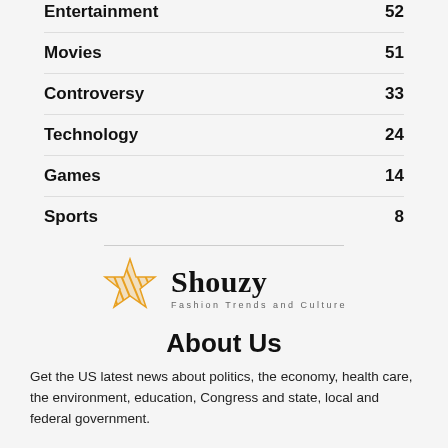Entertainment 52
Movies 51
Controversy 33
Technology 24
Games 14
Sports 8
[Figure (logo): Shouzy star logo with text 'Shouzy' and tagline 'Fashion Trends and Culture']
About Us
Get the US latest news about politics, the economy, health care, the environment, education, Congress and state, local and federal government.